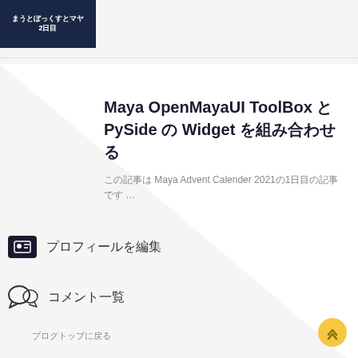[Figure (illustration): Dark navy blue thumbnail card with Japanese text and '2日目' (Day 2)]
Maya OpenMayaUI ToolBox と PySide の Widget を組み合わせる
この記事は Maya Advent Calender 2021の1日目の記事です …
プロフィールを編集
コメント一覧
ブログトップに戻る